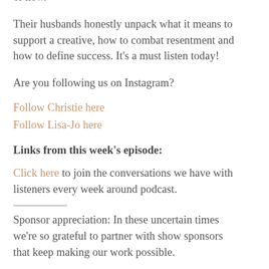or how.
Their husbands honestly unpack what it means to support a creative, how to combat resentment and how to define success. It's a must listen today!
Are you following us on Instagram?
Follow Christie here
Follow Lisa-Jo here
Links from this week's episode:
Click here to join the conversations we have with listeners every week around podcast.
Sponsor appreciation: In these uncertain times we're so grateful to partner with show sponsors that keep making our work possible.
Click here to join over 1 million people taking